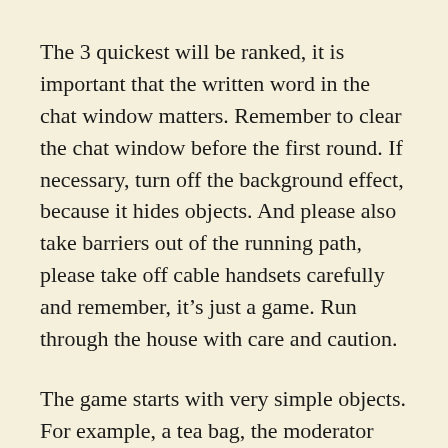The 3 quickest will be ranked, it is important that the written word in the chat window matters. Remember to clear the chat window before the first round. If necessary, turn off the background effect, because it hides objects. And please also take barriers out of the running path, please take off cable handsets carefully and remember, it’s just a game. Run through the house with care and caution.
The game starts with very simple objects. For example, a tea bag, the moderator now says “I need the flavor of a tea bag in the chat” now you run out, get a tea bag, hold it briefly in the camera and type in “chamomile”, “winter apple dream” or similar.